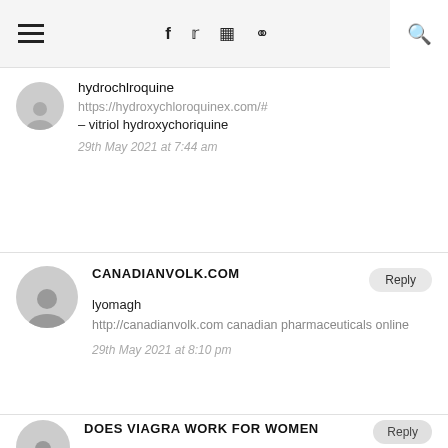Navigation bar with hamburger menu, social icons (f, twitter, instagram, pinterest), and search
hydrochlroquine
https://hydroxychloroquinex.com/#
– vitriol hydroxychoriquine
29th May 2021 at 7:44 am
CANADIANVOLK.COM
lyomagh
http://canadianvolk.com canadian pharmaceuticals online
29th May 2021 at 8:10 pm
DOES VIAGRA WORK FOR WOMEN